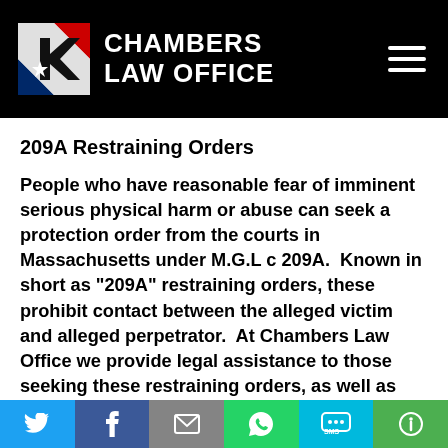[Figure (logo): Chambers Law Office logo with flag-styled K icon and white bold text on black background]
209A Restraining Orders
People who have reasonable fear of imminent serious physical harm or abuse can seek a protection order from the courts in Massachusetts under M.G.L c 209A.  Known in short as "209A" restraining orders, these prohibit contact between the alleged victim and alleged perpetrator.  At Chambers Law Office we provide legal assistance to those seeking these restraining orders, as well as
[Figure (infographic): Social sharing bar with Twitter, Facebook, Email, WhatsApp, SMS, and More buttons]